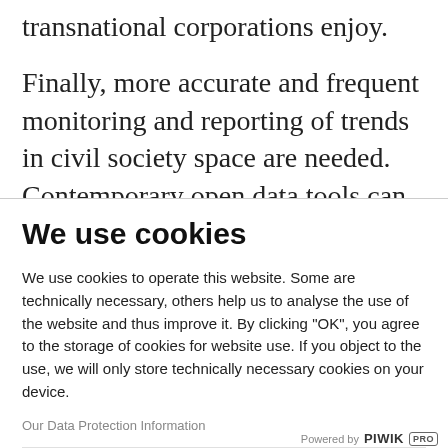transnational corporations enjoy.
Finally, more accurate and frequent monitoring and reporting of trends in civil society space are needed. Contemporary open data tools can help to track and report whether civil society space is worsening or improving in different contexts, and trigger early
We use cookies
We use cookies to operate this website. Some are technically necessary, others help us to analyse the use of the website and thus improve it. By clicking "OK", you agree to the storage of cookies for website use. If you object to the use, we will only store technically necessary cookies on your device.
Our Data Protection Information
OK
No, thank you
Powered by PIWIK PRO